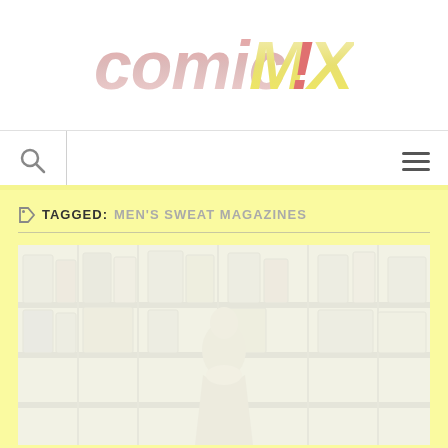[Figure (logo): ComicMix website logo with stylized text 'comicMIX' in pink/yellow gradient italic font]
Navigation bar with search icon and hamburger menu
TAGGED: MEN'S SWEAT MAGAZINES
[Figure (illustration): Faded/washed-out comic book style illustration of a person among magazine racks, very light gray tones on yellow background]